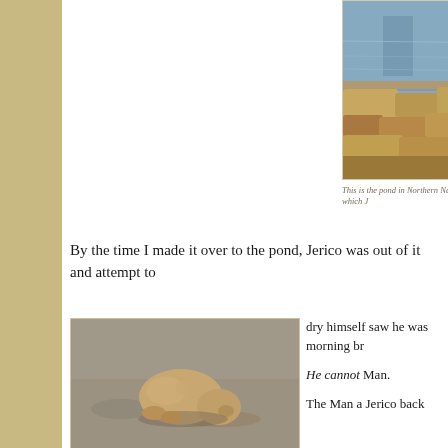[Figure (photo): Photo of a pond with rocky edges in Northern New Mexico, showing calm water and large tan/brown rocks along the border]
This is the pond in Northern New Mexico into which J
By the time I made it over to the pond, Jerico was out of it and attempt to
[Figure (photo): Photo of a wet dog (Jerico) lying on sandy/dirt ground, curled up trying to dry himself]
dry himself saw he was morning br

He cannot Man.

The Man a Jerico back